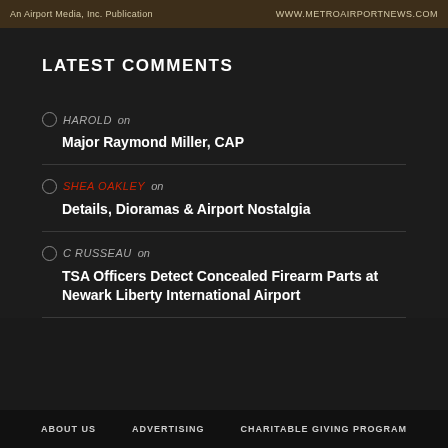An Airport Media, Inc. Publication    WWW.METROAIRPORTNEWS.COM
LATEST COMMENTS
HAROLD on
Major Raymond Miller, CAP
SHEA OAKLEY on
Details, Dioramas & Airport Nostalgia
C RUSSEAU on
TSA Officers Detect Concealed Firearm Parts at Newark Liberty International Airport
ABOUT US    ADVERTISING    CHARITABLE GIVING PROGRAM